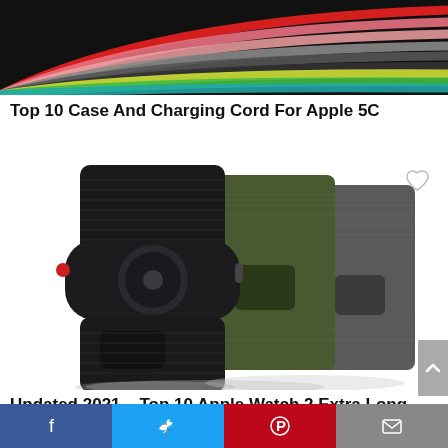[Figure (photo): Colorful charging cables in multiple colors including red, pink, gray, dark, yellow, green arranged in a arc/rainbow pattern on black background]
Top 10 Case And Charging Cord For Apple 5C
[Figure (photo): Three Apple Watch bands in black, army green, and dark gray nylon elastic loop style, shown stacked/overlapping on a black Apple Watch]
Updated 2021 – Top 10 Apple Watch 2 Extra Long Band
Facebook | Twitter | Pinterest | Email